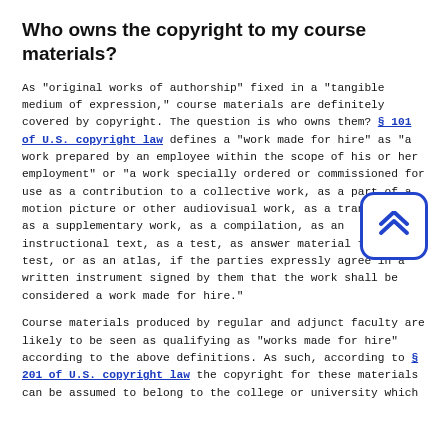Who owns the copyright to my course materials?
As "original works of authorship" fixed in a "tangible medium of expression," course materials are definitely covered by copyright. The question is who owns them? § 101 of U.S. copyright law defines a "work made for hire" as "a work prepared by an employee within the scope of his or her employment" or "a work specially ordered or commissioned for use as a contribution to a collective work, as a part of a motion picture or other audiovisual work, as a translation, as a supplementary work, as a compilation, as an instructional text, as a test, as answer material for a test, or as an atlas, if the parties expressly agree in a written instrument signed by them that the work shall be considered a work made for hire."
Course materials produced by regular and adjunct faculty are likely to be seen as qualifying as "works made for hire" according to the above definitions. As such, according to § 201 of U.S. copyright law the copyright for these materials can be assumed to belong to the college or university which